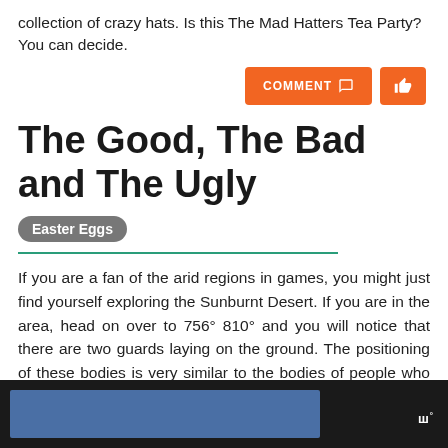collection of crazy hats. Is this The Mad Hatters Tea Party? You can decide.
COMMENT 💬  👍
The Good, The Bad and The Ugly Easter Eggs
If you are a fan of the arid regions in games, you might just find yourself exploring the Sunburnt Desert. If you are in the area, head on over to 756° 810° and you will notice that there are two guards laying on the ground. The positioning of these bodies is very similar to the bodies of people who have recreated the famous Mexican Standoff from the classic cowboy movie. The Go